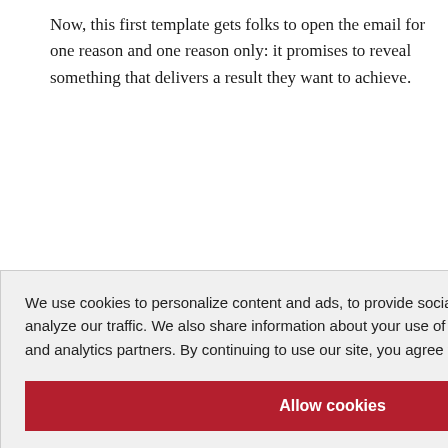Now, this first template gets folks to open the email for one reason and one reason only: it promises to reveal something that delivers a result they want to achieve.
[Figure (screenshot): Cookie consent overlay popup partially obscuring page content. Contains privacy policy text, 'Allow cookies' red button, 'Dismiss' link, and 'Cookie Preferences' link with settings icon. Behind the overlay, partially visible content includes a box with list items ending in 'e crazy', 'crazy', 'crazy', and body text ending in 'couple of', 'which people', 'want to avoid', 'cal tips before', and at the bottom bold text '...arly warning' and italic text 'signs of [blank]?']